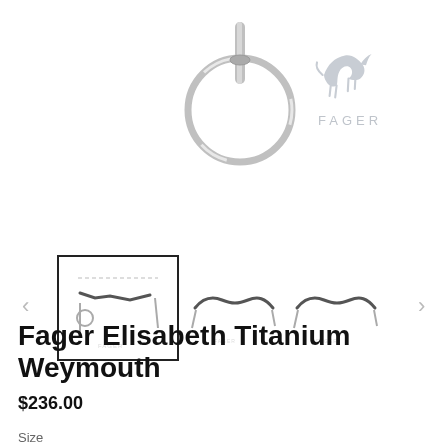[Figure (photo): Close-up photo of a horse bit (Weymouth bit) with metal ring and chain detail against white background. Fager brand logo (leaping horse) visible in top right.]
[Figure (photo): Thumbnail gallery showing three product images of the Fager Elisabeth Titanium Weymouth bit from different angles. First image (selected/highlighted with border) shows full bit assembly. Second and third show different views of the mouthpiece.]
Fager Elisabeth Titanium Weymouth
$236.00
Size